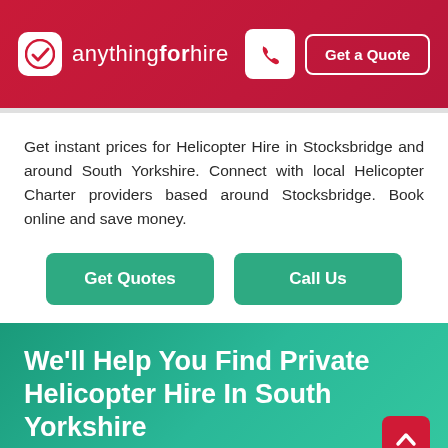anythingforhire — Get a Quote
Get instant prices for Helicopter Hire in Stocksbridge and around South Yorkshire. Connect with local Helicopter Charter providers based around Stocksbridge. Book online and save money.
Get Quotes | Call Us
We'll Help You Find Private Helicopter Hire In South Yorkshire